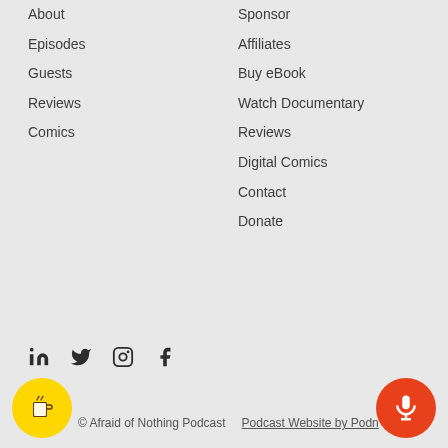About
Episodes
Guests
Reviews
Comics
Sponsor
Affiliates
Buy eBook
Watch Documentary
Reviews
Digital Comics
Contact
Donate
[Figure (illustration): Social media icons: LinkedIn, Twitter, Instagram, Facebook]
© Afraid of Nothing Podcast   Podcast Website by Podnews
[Figure (illustration): Buy Me a Coffee yellow circular button with coffee cup icon]
[Figure (illustration): Orange circular microphone/podcast button]